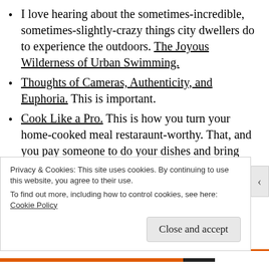I love hearing about the sometimes-incredible, sometimes-slightly-crazy things city dwellers do to experience the outdoors. The Joyous Wilderness of Urban Swimming.
Thoughts of Cameras, Authenticity, and Euphoria. This is important.
Cook Like a Pro. This is how you turn your home-cooked meal restaraunt-worthy. That, and you pay someone to do your dishes and bring your meal to the table for you.
Currently reading: this + this
Privacy & Cookies: This site uses cookies. By continuing to use this website, you agree to their use.
To find out more, including how to control cookies, see here:
Cookie Policy
Close and accept